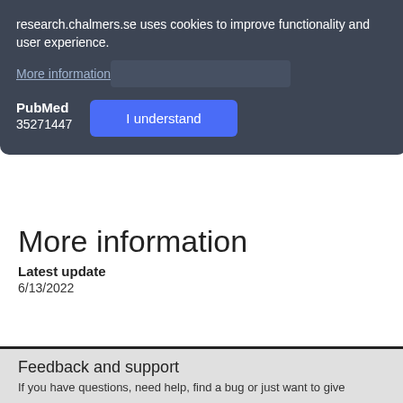Identifiers
research.chalmers.se uses cookies to improve functionality and user experience.
More information
PubMed
35271447
I understand
More information
Latest update
6/13/2022
Feedback and support
If you have questions, need help, find a bug or just want to give